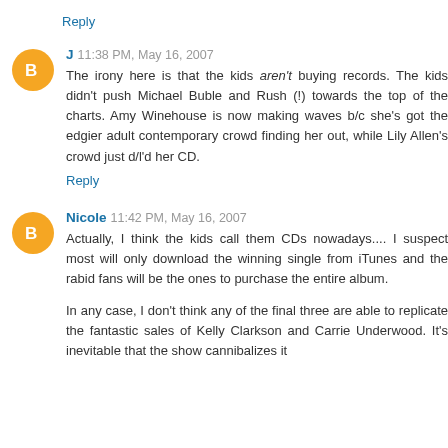Reply
J  11:38 PM, May 16, 2007
The irony here is that the kids aren't buying records. The kids didn't push Michael Buble and Rush (!) towards the top of the charts. Amy Winehouse is now making waves b/c she's got the edgier adult contemporary crowd finding her out, while Lily Allen's crowd just d/l'd her CD.
Reply
Nicole  11:42 PM, May 16, 2007
Actually, I think the kids call them CDs nowadays.... I suspect most will only download the winning single from iTunes and the rabid fans will be the ones to purchase the entire album.
In any case, I don't think any of the final three are able to replicate the fantastic sales of Kelly Clarkson and Carrie Underwood. It's inevitable that the show cannibalizes its...